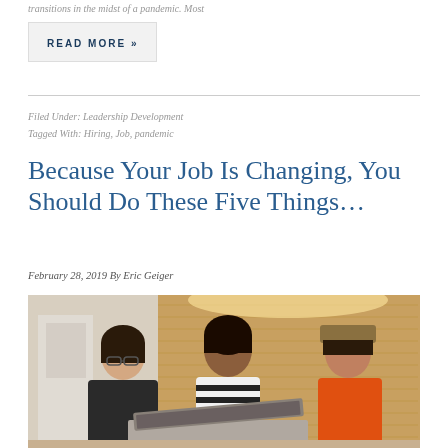transitions in the midst of a pandemic. Most
READ MORE »
Filed Under: Leadership Development
Tagged With: Hiring, Job, pandemic
Because Your Job Is Changing, You Should Do These Five Things…
February 28, 2019 By Eric Geiger
[Figure (photo): Three women sitting together looking at a laptop, in an office or lounge setting with warm wood-paneled background.]